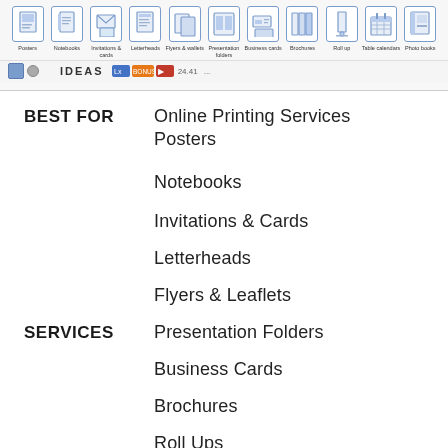[Figure (screenshot): Navigation bar showing product icons: Posters, Notebooks, Invitations & cards, Letterheads, Flyers & wallets, Presentation folders, Business cards, Brochures, Roll up, Table calendars, Photo books. Below is a toolbar row with small icons.]
BEST FOR
Online Printing Services
Posters
Notebooks
Invitations & Cards
Letterheads
Flyers & Leaflets
SERVICES
Presentation Folders
Business Cards
Brochures
Roll Ups
Table Calendars